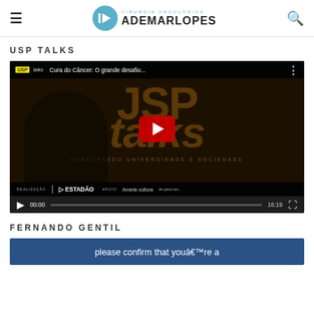≡  CIRURGIA ONCOLÓGICA ADEMAR LOPES  🔍
USP TALKS
[Figure (screenshot): Embedded YouTube video player showing USP Talks video titled 'Cura do Câncer: O grande desafio...' with play button, time 00:00, duration 16:19, and fullscreen button. Background shows USP talks branding with 'CONECTANDO UNIVERSIDADE E SOCIEDADE', a speaker silhouette, and logos for Estadão and Livraria Cultura.]
FERNANDO GENTIL
please confirm that you're a